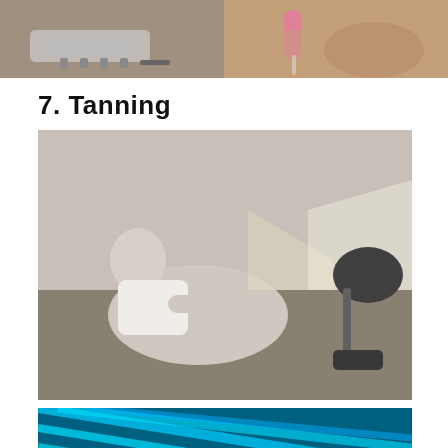[Figure (photo): Two photos side by side at top: left shows a flat iron or electric device on a surface with feet/sandals visible; right shows a pink lamp or device held near a person's skin.]
7. Tanning
[Figure (photo): Black and white vintage photograph of a young man in a white tank top reclining on a bed, holding a cigarette, with a UV/sun lamp shining on him from the right side.]
[Figure (photo): Color photo of a person in a tanning bed with blue UV lights glowing all around, person's dark hair visible.]